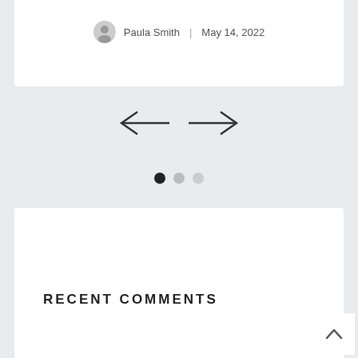Paula Smith  |  May 14, 2022
[Figure (other): Navigation arrows (left arrow and right arrow) for a carousel slider]
[Figure (other): Three pagination dots: first filled black (active), second medium grey, third light grey]
RECENT COMMENTS
[Figure (other): Back-to-top button with upward-pointing chevron arrow]